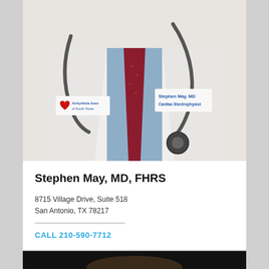[Figure (photo): Doctor in white lab coat with stethoscope and red tie, wearing badge that reads 'Arrhythmia Assoc of South Texas' and name tag 'Stephen May, MD, Cardiac Electrophysiologist']
Stephen May, MD, FHRS
8715 Village Drive, Suite 518
San Antonio, TX 78217
CALL 210-590-7712
[Figure (photo): Partial view of another doctor, dark background, only top of head visible]